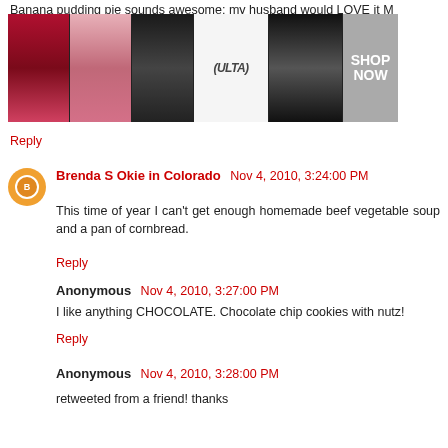Banana pudding pie sounds awesome; my husband would LOVE it M
[Figure (screenshot): ULTA beauty advertisement banner showing makeup images and SHOP NOW button]
Reply
Brenda S Okie in Colorado  Nov 4, 2010, 3:24:00 PM
This time of year I can't get enough homemade beef vegetable soup and a pan of cornbread.
Reply
Anonymous  Nov 4, 2010, 3:27:00 PM
I like anything CHOCOLATE. Chocolate chip cookies with nutz!
Reply
Anonymous  Nov 4, 2010, 3:28:00 PM
retweeted from a friend! thanks